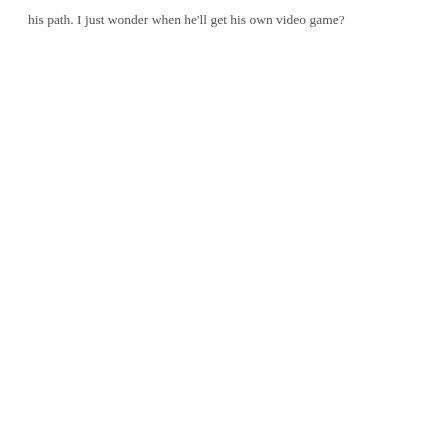his path. I just wonder when he'll get his own video game?